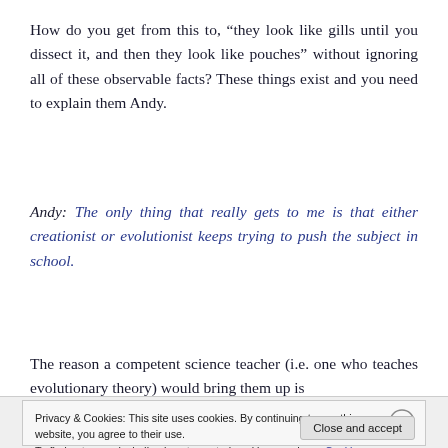How do you get from this to, “they look like gills until you dissect it, and then they look like pouches” without ignoring all of these observable facts? These things exist and you need to explain them Andy.
Andy: The only thing that really gets to me is that either creationist or evolutionist keeps trying to push the subject in school.
The reason a competent science teacher (i.e. one who teaches evolutionary theory) would bring them up is
Privacy & Cookies: This site uses cookies. By continuing to use this website, you agree to their use.
To find out more, including how to control cookies, see here: Cookie Policy